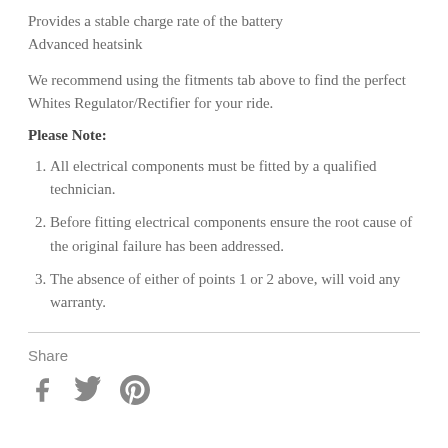Provides a stable charge rate of the battery
Advanced heatsink
We recommend using the fitments tab above to find the perfect Whites Regulator/Rectifier for your ride.
Please Note:
All electrical components must be fitted by a qualified technician.
Before fitting electrical components ensure the root cause of the original failure has been addressed.
The absence of either of points 1 or 2 above, will void any warranty.
Share